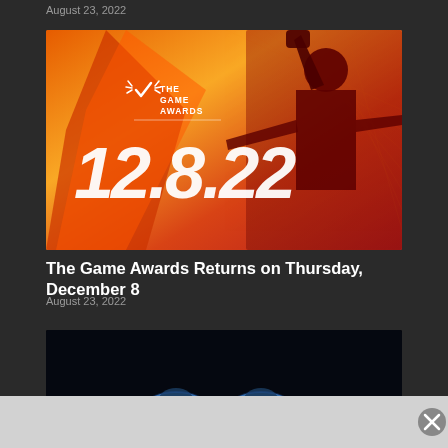August 23, 2022
[Figure (photo): The Game Awards promotional image with orange/red gradient background, silhouetted figure raising fist, TGA logo, and date 12.8.22]
The Game Awards Returns on Thursday, December 8
August 23, 2022
[Figure (photo): Dark image with blue circular robot/mech figures at the bottom, partially visible]
[Figure (infographic): Advertisement banner overlay at the bottom with a close (X) button]